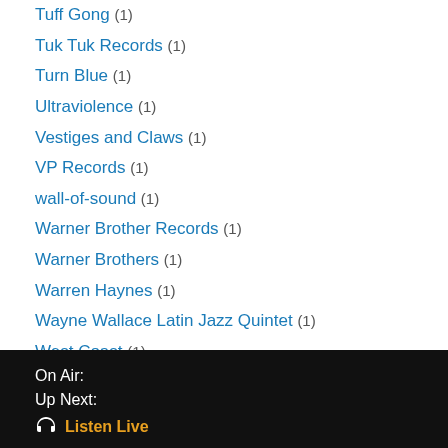Tuff Gong (1)
Tuk Tuk Records (1)
Turn Blue (1)
Ultraviolence (1)
Vestiges and Claws (1)
VP Records (1)
wall-of-sound (1)
Warner Brother Records (1)
Warner Brothers (1)
Warren Haynes (1)
Wayne Wallace Latin Jazz Quintet (1)
West Coast (1)
Western Standard Time (1)
What A Terrible World What A Beautiful World (1)
Whiskey Autumn (1)
Whitehorse (1)
On Air:
Up Next:
Listen Live